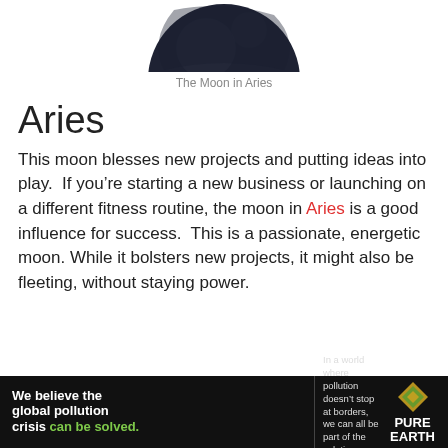[Figure (illustration): Dark circular illustration of the Moon in Aries zodiac sign, showing a dark navy/slate colored sphere with subtle design elements]
The Moon in Aries
Aries
This moon blesses new projects and putting ideas into play. If you’re starting a new business or launching on a different fitness routine, the moon in Aries is a good influence for success. This is a passionate, energetic moon. While it bolsters new projects, it might also be fleeting, without staying power.
[Figure (infographic): Pure Earth advertisement banner: 'We believe the global pollution crisis can be solved. In a world where pollution doesn’t stop at borders, we can all be part of the solution. JOIN US.' with Pure Earth logo (diamond/chevron shape in gold/green).]